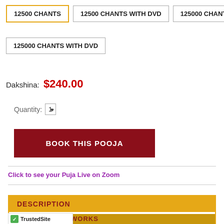12500 CHANTS (selected)
12500 CHANTS WITH DVD
125000 CHANTS
125000 CHANTS WITH DVD
Dakshina: $240.00
Quantity: 1
BOOK THIS POOJA
Click to see your Puja Live on Zoom
DESCRIPTION
WORKS
TrustedSite